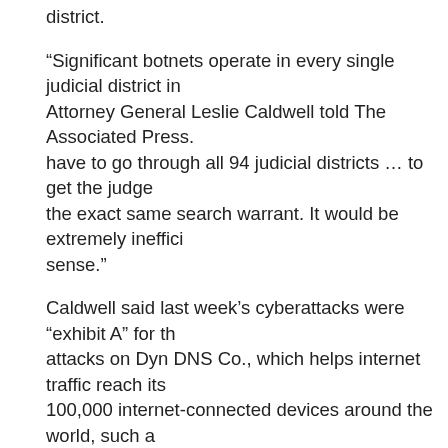district.
“Significant botnets operate in every single judicial district in Attorney General Leslie Caldwell told The Associated Press. have to go through all 94 judicial districts … to get the judge the exact same search warrant. It would be extremely ineffici sense.”
Caldwell said last week’s cyberattacks were “exhibit A” for th attacks on Dyn DNS Co., which helps internet traffic reach its 100,000 internet-connected devices around the world, such a to flood Dyn’s connections and cause temporary internet outa Twitter, Reddit and Spotify.
Lawmakers including Wyden; Sen. Elizabeth Warren, D-Mas and Rep. Louie Gohmert, R-Texas, said in their letter to Lync should explain how it will prevent judge-shopping, what tests unintended consequences of hacking devices and whether th “clean” infected devices.
Cybersecurity researchers said botnet attacks are expected t incentive for owners or manufacturers to fix vulnerable devic a third party and the unwitting owner usually doesn’t realize t taking part in the attack.
The Justice Department said it has always had the power to millions of people as long as it deals with households that a